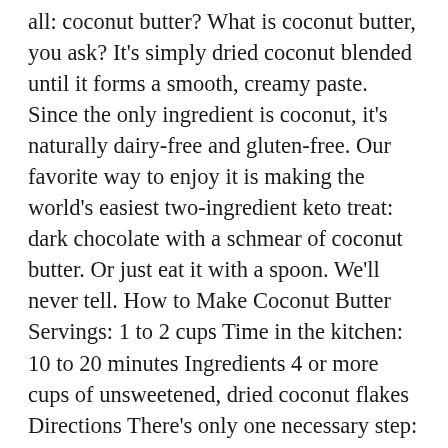all: coconut butter? What is coconut butter, you ask? It's simply dried coconut blended until it forms a smooth, creamy paste. Since the only ingredient is coconut, it's naturally dairy-free and gluten-free. Our favorite way to enjoy it is making the world's easiest two-ingredient keto treat: dark chocolate with a schmear of coconut butter. Or just eat it with a spoon. We'll never tell. How to Make Coconut Butter Servings: 1 to 2 cups Time in the kitchen: 10 to 20 minutes Ingredients 4 or more cups of unsweetened, dried coconut flakes Directions There's only one necessary step: blend! But if you want to make the best coconut butter ever, follow these 10 no-fail tips. 10 Tips for Making the Best Coconut Butter Ever Tip #1: Use large unsweetened dried coconut flakes. These are easier to turn into butter. Tip #2: For a deeper, nuttier flavor, toast the coconut. Lay the